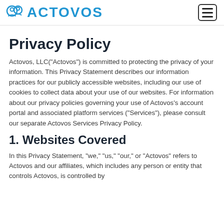ACTOVOS
Privacy Policy
Actovos, LLC("Actovos") is committed to protecting the privacy of your information. This Privacy Statement describes our information practices for our publicly accessible websites, including our use of cookies to collect data about your use of our websites. For information about our privacy policies governing your use of Actovos’s account portal and associated platform services (“Services”), please consult our separate Actovos Services Privacy Policy.
1. Websites Covered
In this Privacy Statement, “we,” “us,” “our,” or “Actovos” refers to Actovos and our affiliates, which includes any person or entity that controls Actovos, is controlled by